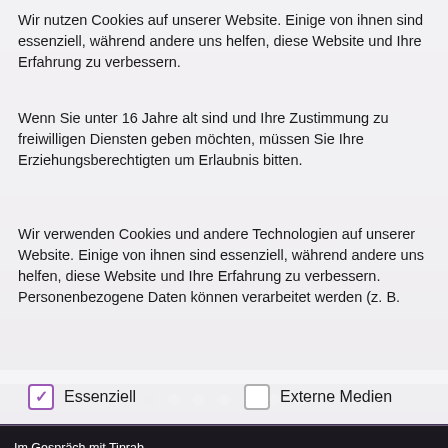Wir nutzen Cookies auf unserer Website. Einige von ihnen sind essenziell, während andere uns helfen, diese Website und Ihre Erfahrung zu verbessern.
Wenn Sie unter 16 Jahre alt sind und Ihre Zustimmung zu freiwilligen Diensten geben möchten, müssen Sie Ihre Erziehungsberechtigten um Erlaubnis bitten.
Wir verwenden Cookies und andere Technologien auf unserer Website. Einige von ihnen sind essenziell, während andere uns helfen, diese Website und Ihre Erfahrung zu verbessern. Personenbezogene Daten können verarbeitet werden (z. B.
✓  Essenziell          Externe Medien
Im Gespräch mit Tinrab
[Figure (other): Navigation dots row: 7 dots, first one dark/filled, rest lighter gray]